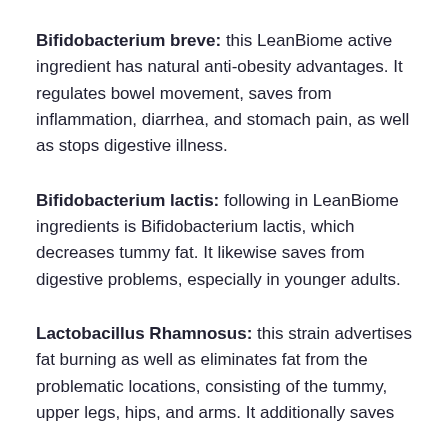Bifidobacterium breve: this LeanBiome active ingredient has natural anti-obesity advantages. It regulates bowel movement, saves from inflammation, diarrhea, and stomach pain, as well as stops digestive illness.
Bifidobacterium lactis: following in LeanBiome ingredients is Bifidobacterium lactis, which decreases tummy fat. It likewise saves from digestive problems, especially in younger adults.
Lactobacillus Rhamnosus: this strain advertises fat burning as well as eliminates fat from the problematic locations, consisting of the tummy, upper legs, hips, and arms. It additionally saves